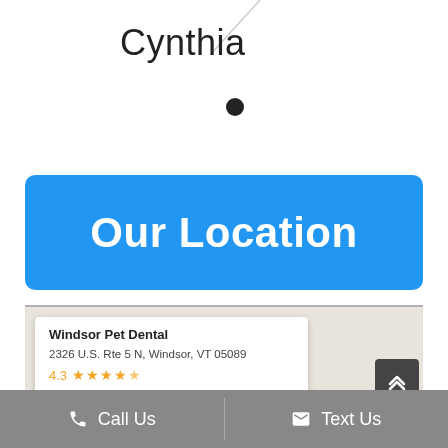Cynthia
[Figure (illustration): Decorative diagonal line in upper area]
Our Location
[Figure (map): Google Maps embed showing Windsor Pet Dental location with info card: Windsor Pet Dental, 2326 U.S. Rte 5 N, Windsor, VT 05089, 4.3 stars, View larger map link]
Call Us   Text Us